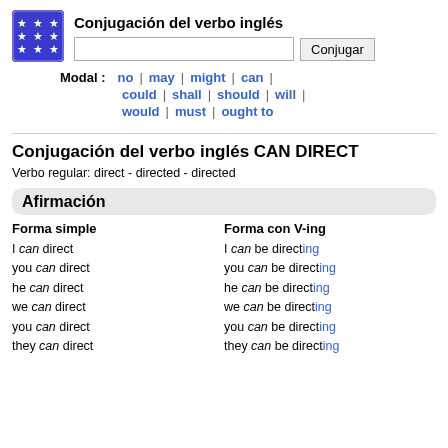[Figure (logo): Blue square logo with white stars arranged in a 3x3 grid]
Conjugación del verbo inglés
Modal : no | may | might | can | could | shall | should | will | would | must | ought to
Conjugación del verbo inglés CAN DIRECT
Verbo regular: direct - directed - directed
Afirmación
| Forma simple | Forma con V-ing |
| --- | --- |
| I can direct | I can be directing |
| you can direct | you can be directing |
| he can direct | he can be directing |
| we can direct | we can be directing |
| you can direct | you can be directing |
| they can direct | they can be directing |